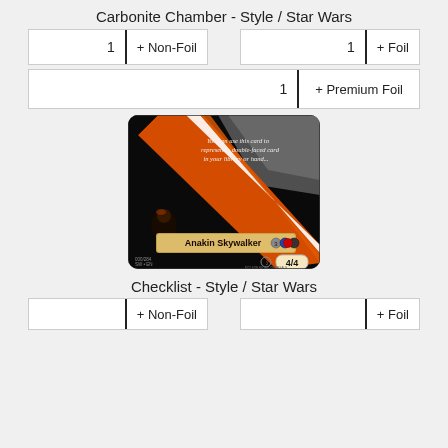Carbonite Chamber - Style / Star Wars
1  + Non-Foil  |  1  + Foil
1  + Premium Foil
[Figure (illustration): Carbonite Chamber card from Star Wars style Magic: The Gathering set. Black card back with orange and white diagonal stripes. Shows Anakin Skywalker name label at bottom with mana symbols. Text reads: You can use this card to represent a double-faced card in your library or hand. Card number 000/284 SW EN. Rating 4/4.]
Checklist - Style / Star Wars
+ Non-Foil  |  + Foil